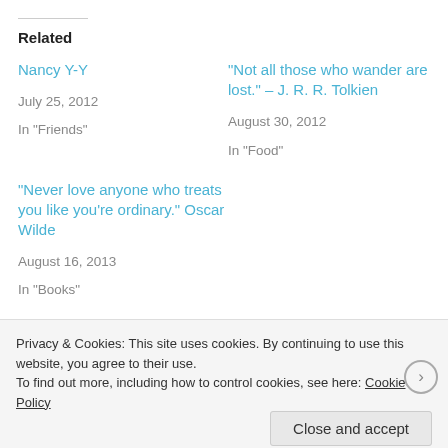Related
Nancy Y-Y
July 25, 2012
In "Friends"
“Not all those who wander are lost.” – J. R. R. Tolkien
August 30, 2012
In "Food"
“Never love anyone who treats you like you're ordinary.” Oscar Wilde
August 16, 2013
In "Books"
Privacy & Cookies: This site uses cookies. By continuing to use this website, you agree to their use.
To find out more, including how to control cookies, see here: Cookie Policy
Close and accept